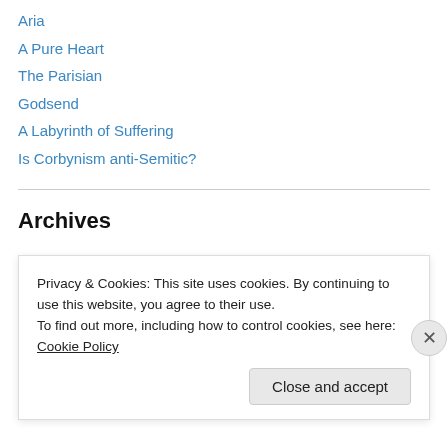Aria
A Pure Heart
The Parisian
Godsend
A Labyrinth of Suffering
Is Corbynism anti-Semitic?
Archives
August 2022 (1)
June 2022 (1)
April 2022 (1)
Privacy & Cookies: This site uses cookies. By continuing to use this website, you agree to their use.
To find out more, including how to control cookies, see here: Cookie Policy
Close and accept